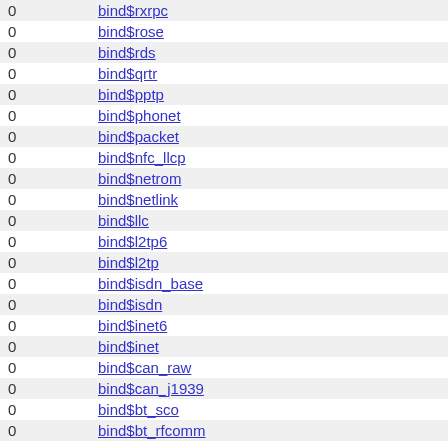|  |  |
| --- | --- |
| 0 | bind$rxrpc |
| 0 | bind$rose |
| 0 | bind$rds |
| 0 | bind$qrtr |
| 0 | bind$pptp |
| 0 | bind$phonet |
| 0 | bind$packet |
| 0 | bind$nfc_llcp |
| 0 | bind$netrom |
| 0 | bind$netlink |
| 0 | bind$llc |
| 0 | bind$l2tp6 |
| 0 | bind$l2tp |
| 0 | bind$isdn_base |
| 0 | bind$isdn |
| 0 | bind$inet6 |
| 0 | bind$inet |
| 0 | bind$can_raw |
| 0 | bind$can_j1939 |
| 0 | bind$bt_sco |
| 0 | bind$bt_rfcomm |